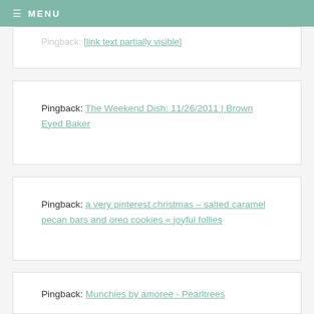≡ MENU
Pingback: [partial link text visible]
Pingback: The Weekend Dish: 11/26/2011 | Brown Eyed Baker
Pingback: a very pinterest christmas – salted caramel pecan bars and oreo cookies « joyful follies
Pingback: Munchies by amoree - Pearltrees